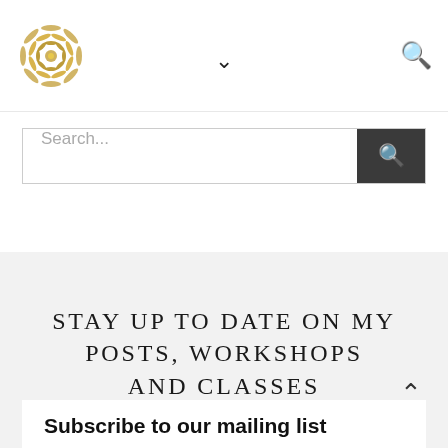[Figure (logo): Gold mandala/geometric floral logo in the top-left corner of the navigation bar]
Navigation bar with logo, chevron dropdown indicator, and search icon
Search...
STAY UP TO DATE ON MY POSTS, WORKSHOPS AND CLASSES
Subscribe to our mailing list